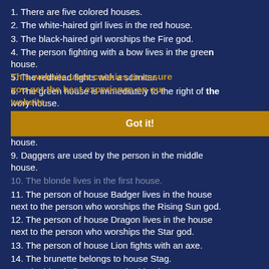1. There are five colored houses.
2. The white-haired girl lives in the red house.
3. The black-haired girl worships the Fire god.
4. The person fighting with a bow lives in the green house.
5. The redhead fights with a scimitar.
6. The green house is immediately to the right of the ivory house.
7. The person of house Bear worships the Moon god.
8. The person of house Dragon lives in the yellow house.
9. Daggers are used by the person in the middle house.
10. The blonde lives in the first house.
11. The person of house Badger lives in the house next to the person who worships the Rising Sun god.
12. The person of house Dragon lives in the house next to the person who worships the Star god.
13. The person of house Lion fights with an axe.
14. The brunette belongs to house Stag.
15. The blonde lives next to the blue house.
So, who fights with swords, and who worships the Barron Tree god?